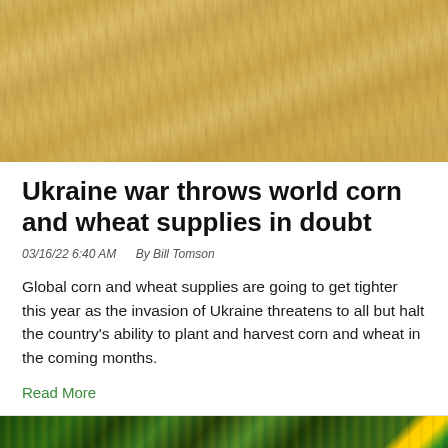[Figure (photo): Close-up photograph of golden wheat/grain texture filling the frame]
Ukraine war throws world corn and wheat supplies in doubt
03/16/22 6:40 AM   By Bill Tomson
Global corn and wheat supplies are going to get tighter this year as the invasion of Ukraine threatens to all but halt the country's ability to plant and harvest corn and wheat in the coming months.
Read More
[Figure (photo): Partial photograph at bottom showing green and yellow colors, likely crops or flag imagery]